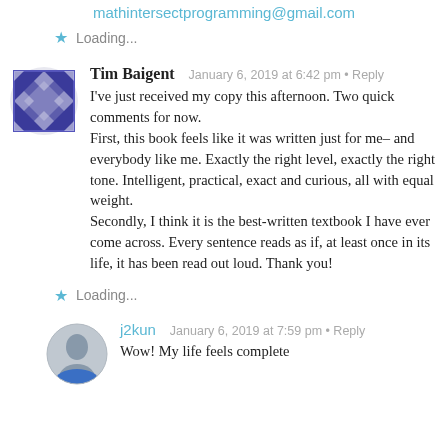mathintersectprogramming@gmail.com
Loading...
Tim Baigent  January 6, 2019 at 6:42 pm • Reply
I've just received my copy this afternoon. Two quick comments for now.
First, this book feels like it was written just for me– and everybody like me. Exactly the right level, exactly the right tone. Intelligent, practical, exact and curious, all with equal weight.
Secondly, I think it is the best-written textbook I have ever come across. Every sentence reads as if, at least once in its life, it has been read out loud. Thank you!
Loading...
j2kun  January 6, 2019 at 7:59 pm • Reply
Wow! My life feels complete